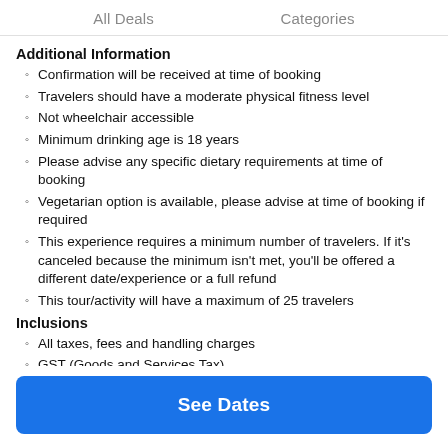All Deals    Categories
Additional Information
Confirmation will be received at time of booking
Travelers should have a moderate physical fitness level
Not wheelchair accessible
Minimum drinking age is 18 years
Please advise any specific dietary requirements at time of booking
Vegetarian option is available, please advise at time of booking if required
This experience requires a minimum number of travelers. If it's canceled because the minimum isn't met, you'll be offered a different date/experience or a full refund
This tour/activity will have a maximum of 25 travelers
Inclusions
All taxes, fees and handling charges
GST (Goods and Services Tax)
See Dates